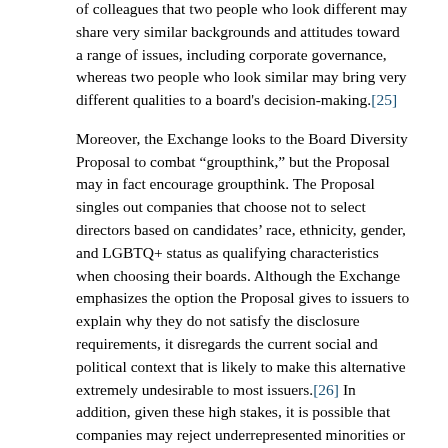of colleagues that two people who look different may share very similar backgrounds and attitudes toward a range of issues, including corporate governance, whereas two people who look similar may bring very different qualities to a board's decision-making.[25]
Moreover, the Exchange looks to the Board Diversity Proposal to combat "groupthink," but the Proposal may in fact encourage groupthink. The Proposal singles out companies that choose not to select directors based on candidates' race, ethnicity, gender, and LGBTQ+ status as qualifying characteristics when choosing their boards. Although the Exchange emphasizes the option the Proposal gives to issuers to explain why they do not satisfy the disclosure requirements, it disregards the current social and political context that is likely to make this alternative extremely undesirable to most issuers.[26] In addition, given these high stakes, it is possible that companies may reject underrepresented minorities or women who choose not to self-identify, which could transform the proposed framework into an ideological screen that selects for people who are willing to subject themselves to the prescribed categorization. To the extent that the Proposal selects for a director's willingness to overcome personal discomfort with such classifications in response to pressure from future board or management